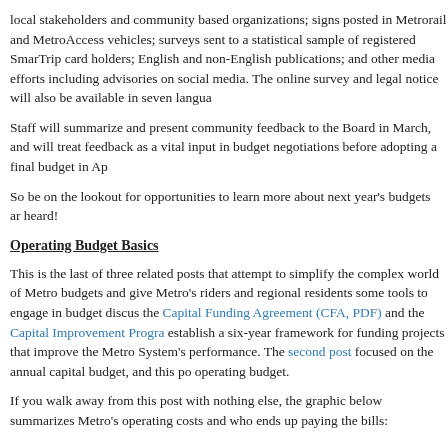local stakeholders and community based organizations; signs posted in Metrorail and MetroAccess vehicles; surveys sent to a statistical sample of registered SmarTrip card holders; English and non-English publications; and other media efforts including advisories on social media. The online survey and legal notice will also be available in seven languages.
Staff will summarize and present community feedback to the Board in March, and will treat feedback as a vital input in budget negotiations before adopting a final budget in April.
So be on the lookout for opportunities to learn more about next year's budgets and make your voice heard!
Operating Budget Basics
This is the last of three related posts that attempt to simplify the complex world of Metro budgets and give Metro's riders and regional residents some tools to engage in budget discussions. The first covered the Capital Funding Agreement (CFA, PDF) and the Capital Improvement Program (CIP), which establish a six-year framework for funding projects that improve the Metro System's infrastructure and performance. The second post focused on the annual capital budget, and this post focuses on the operating budget.
If you walk away from this post with nothing else, the graphic below summarizes the key aspects of Metro's operating costs and who ends up paying the bills:
[Figure (infographic): Costs* heading in large teal underlined font, followed by three lines listing cost categories: Labor (~75 percent), Services (~12 percent), Materials and Supplies (~6 percent) in teal text]